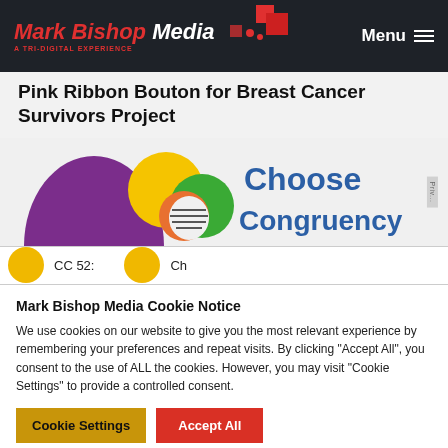Mark Bishop Media — A TRI-DIGITAL EXPERIENCE | Menu
Pink Ribbon Bouton for Breast Cancer Survivors Project
[Figure (logo): Choose Congruency logo with purple mountain and colorful circles]
Mark Bishop Media Cookie Notice
We use cookies on our website to give you the most relevant experience by remembering your preferences and repeat visits. By clicking "Accept All", you consent to the use of ALL the cookies. However, you may visit "Cookie Settings" to provide a controlled consent.
Cookie Settings
Accept All